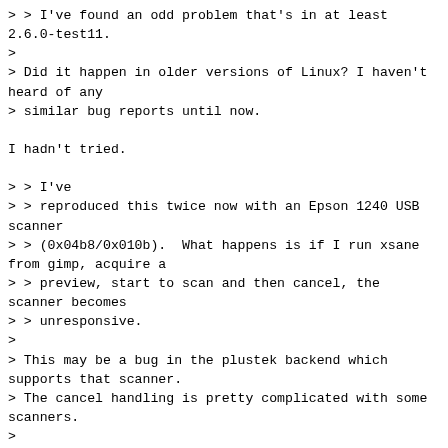> > I've found an odd problem that's in at least 2.6.0-test11.
>
> Did it happen in older versions of Linux? I haven't heard of any
> similar bug reports until now.

I hadn't tried.

> > I've
> > reproduced this twice now with an Epson 1240 USB scanner
> > (0x04b8/0x010b).  What happens is if I run xsane from gimp, acquire a
> > preview, start to scan and then cancel, the scanner becomes
> > unresponsive.
>
> This may be a bug in the plustek backend which supports that scanner.
> The cancel handling is pretty complicated with some scanners.
>
> > If I try and quit xsane, it gets stuck.
>
> That sometimes happens with other scanners, too. E.g. some don't like
> to get a "stop scan" command in certain situations. They just hang
> after that command and further commands run into the